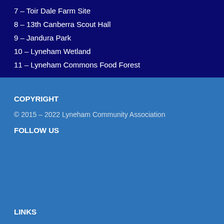7 – Toir Dale Farm Site
8 – 13th Canberra Scout Hall
9 – Jandura Park
10 – Lyneham Wetland
11 – Lyneham Commons Food Forest
COPYRIGHT
© 2015 – 2022 Lyneham Community Association
FOLLOW US
LINKS